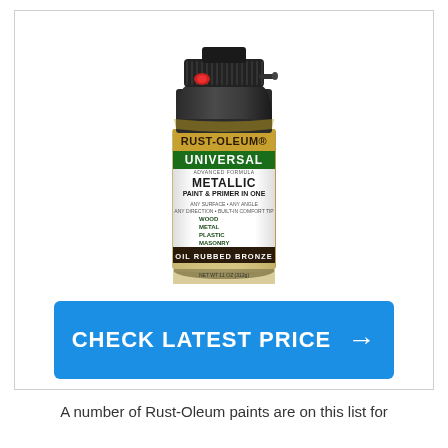[Figure (photo): Rust-Oleum Universal Metallic Paint & Primer In One spray can in Oil Rubbed Bronze color, with a black ergonomic spray cap and red trigger button. The label shows gold/champagne metallic design with text: RUST-OLEUM UNIVERSAL ADVANCED FORMULA METALLIC PAINT & PRIMER IN ONE, ANY SURFACE, ANY ANGLE, ANY DIRECTION, BUILT-IN COMFORT TIP, WOOD, METAL, PLASTIC, MASONRY, OIL RUBBED BRONZE, NET WT 11 OZ.]
CHECK LATEST PRICE →
A number of Rust-Oleum paints are on this list for